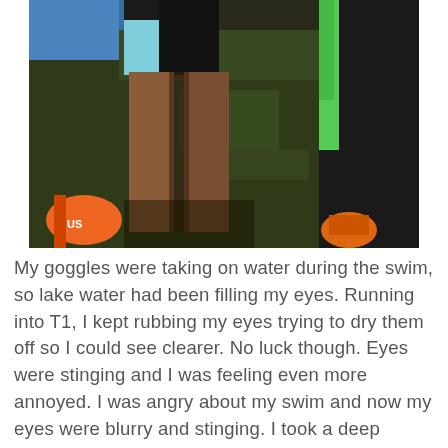[Figure (photo): Outdoor photo showing legs of athletes in triathlon gear standing on grass. One person wearing light blue and black shorts, another wearing a black wetsuit with green trim visible on the right. An orange buoy or marker is visible at the lower left. The image is taken from waist down.]
My goggles were taking on water during the swim, so lake water had been filling my eyes. Running into T1, I kept rubbing my eyes trying to dry them off so I could see clearer. No luck though. Eyes were stinging and I was feeling even more annoyed. I was angry about my swim and now my eyes were blurry and stinging. I took a deep breath, decided I needed to